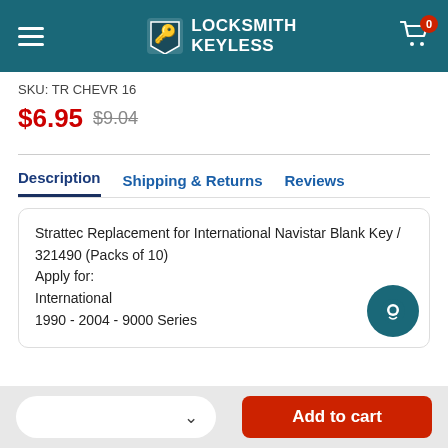Locksmith Keyless
SKU: TR CHEVR 16
$6.95  $9.04
Description   Shipping & Returns   Reviews
Strattec Replacement for International Navistar Blank Key / 321490 (Packs of 10)
Apply for:
International
1990 - 2004 - 9000 Series
Add to cart